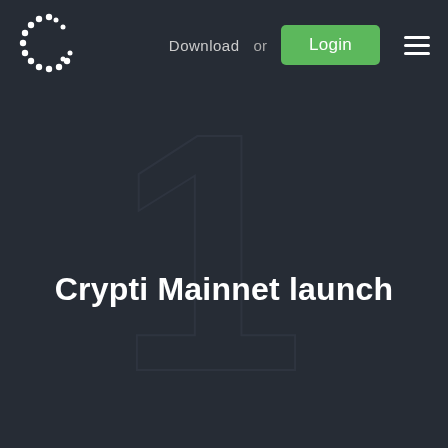[Figure (screenshot): Dark navy background with faint watermark-style large number '1' in the center]
Download or Login
Crypti Mainnet launch